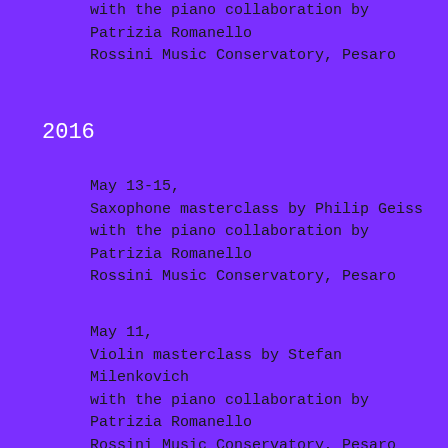with the piano collaboration by
Patrizia Romanello
Rossini Music Conservatory, Pesaro
2016
May 13-15,
Saxophone masterclass by Philip Geiss
with the piano collaboration by
Patrizia Romanello
Rossini Music Conservatory, Pesaro
May 11,
Violin masterclass by Stefan Milenkovich
with the piano collaboration by
Patrizia Romanello
Rossini Music Conservatory, Pesaro